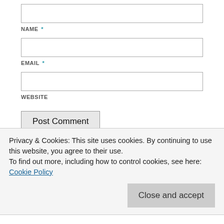NAME *
EMAIL *
WEBSITE
Post Comment
Notify me of new comments via email.
Notify me of new posts via email.
Privacy & Cookies: This site uses cookies. By continuing to use this website, you agree to their use.
To find out more, including how to control cookies, see here: Cookie Policy
Close and accept
RSS - Posts